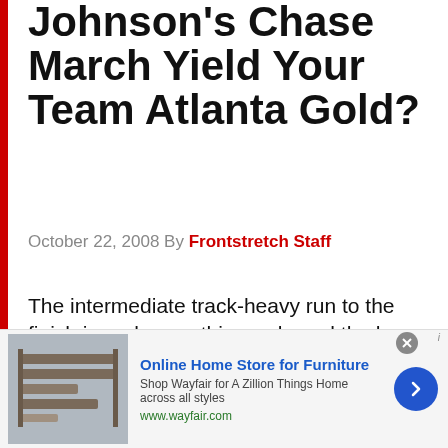Johnson's Chase March Yield Your Team Atlanta Gold?
October 22, 2008 By Frontstretch Staff
The intermediate track-heavy run to the finish is underway this week, and the heavy reliance on downforce and the resultant “aero push” that comes from being in traffic will be prominent this weekend. Now that the race for the title is pretty much a three-man battle – with Carl Edwards barely within shouting distance – the majority of playoff
[Figure (other): Online Home Store for Furniture advertisement banner for Wayfair with furniture image, arrow button, and close button]